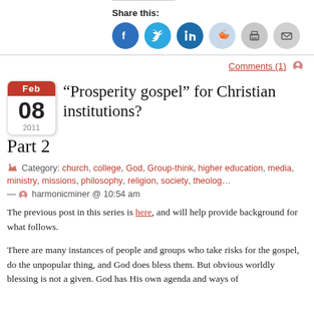Share this:
[Figure (illustration): Six social media sharing icon buttons: Facebook (blue), Twitter (light blue), LinkedIn (dark blue), Reddit (light blue), Print (gray), Email (gray)]
Comments (1)
“Prosperity gospel” for Christian institutions? Part 2
Category: church, college, God, Group-think, higher education, media, ministry, missions, philosophy, religion, society, theology — harmonicminer @ 10:54 am
The previous post in this series is here, and will help provide background for what follows.
There are many instances of people and groups who take risks for the gospel, do the unpopular thing, and God does bless them. But obvious worldly blessing is not a given. God has His own agenda and ways of